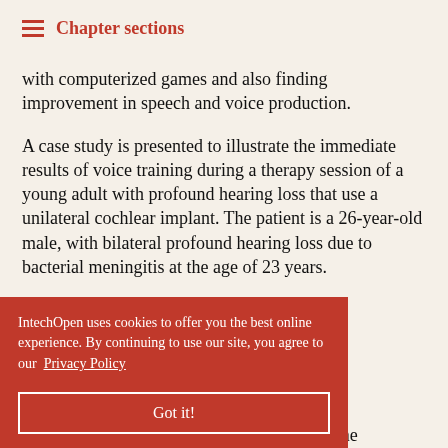Chapter sections
with computerized games and also finding improvement in speech and voice production.
A case study is presented to illustrate the immediate results of voice training during a therapy session of a young adult with profound hearing loss that use a unilateral cochlear implant. The patient is a 26-year-old male, with bilateral profound hearing loss due to bacterial meningitis at the age of 23 years.
rcises, the quential orded pre- ve analysis of usque vocal attack, roughness, nasality, and instability. The